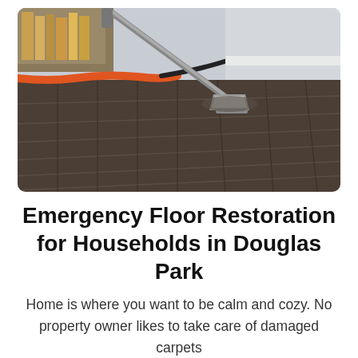[Figure (photo): A carpet cleaning machine wand is pressed against a dark brown commercial carpet tile floor, with an orange hose and black hose visible in the background, inside what appears to be an office or library setting with light gray walls.]
Emergency Floor Restoration for Households in Douglas Park
Home is where you want to be calm and cozy. No property owner likes to take care of damaged carpets or household issues. If you are searching for...